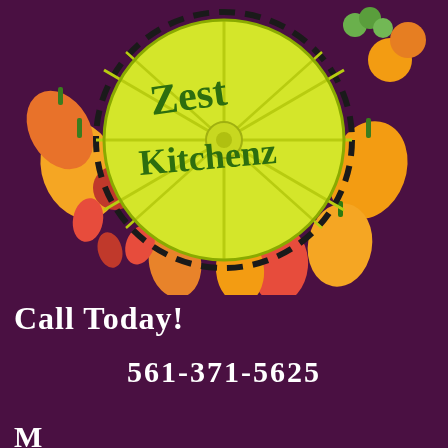[Figure (logo): Zest Kitchenz logo featuring a lemon slice with dashed circular border surrounded by colorful vegetables and peppers. The text 'ZEST KITCHENZ' is written in green script on the lemon.]
Call Today!
561-371-5625
M...